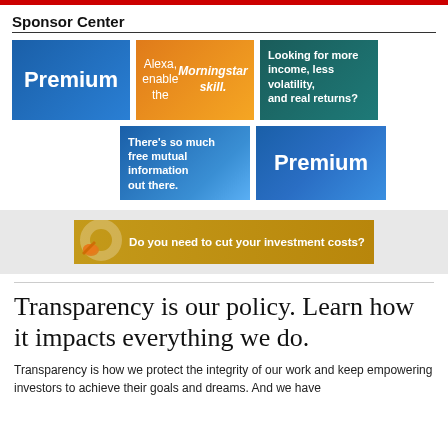Sponsor Center
[Figure (infographic): Five sponsor advertisement banners: two blue 'Premium' banners, an orange 'Alexa, enable the Morningstar skill.' banner, a teal 'Looking for more income, less volatility, and real returns?' banner, and a blue-gradient 'There's so much free mutual information out there.' banner.]
[Figure (infographic): Gold banner advertisement reading 'Do you need to cut your investment costs?' with an orange scissor/tag icon on the left.]
Transparency is our policy. Learn how it impacts everything we do.
Transparency is how we protect the integrity of our work and keep empowering investors to achieve their goals and dreams. And we have